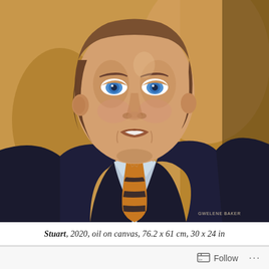[Figure (illustration): Oil painting portrait of a young man named Stuart, wearing a dark blazer, light blue dress shirt, and an orange and dark striped tie. He has blue eyes, a slight smile, and brown hair. The background is warm golden-orange tones. Artist signature 'GWELENE BAKER' in lower right. Painted in 2020.]
Stuart, 2020, oil on canvas, 76.2 x 61 cm, 30 x 24 in
Follow ...